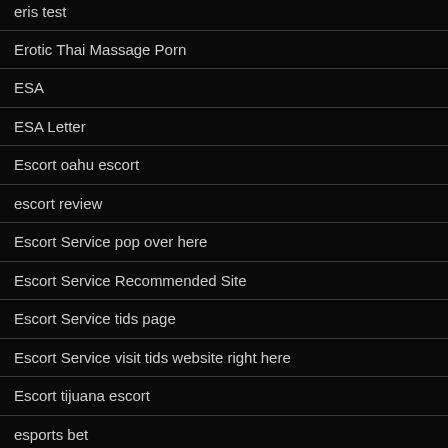eris test
Erotic Thai Massage Porn
ESA
ESA Letter
Escort oahu escort
escort review
Escort Service pop over here
Escort Service Recommended Site
Escort Service tids page
Escort Service visit tids website right here
Escort tijuana escort
esports bet
esports betting